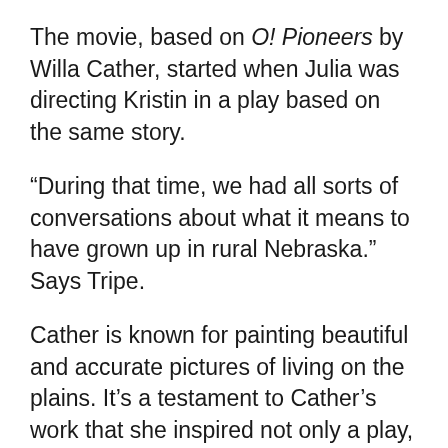The movie, based on O! Pioneers by Willa Cather, started when Julia was directing Kristin in a play based on the same story.
“During that time, we had all sorts of conversations about what it means to have grown up in rural Nebraska.” Says Tripe.
Cather is known for painting beautiful and accurate pictures of living on the plains. It’s a testament to Cather’s work that she inspired not only a play, but the film that Tripe subsequently wrote. Cather will often describe a seemingly common part of nature in a poetically beautiful way.
“There are these scenes where they’re looking